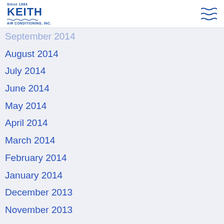KEITH AIR CONDITIONING, INC. Since 1964
September 2014
August 2014
July 2014
June 2014
May 2014
April 2014
March 2014
February 2014
January 2014
December 2013
November 2013
October 2013
September 2013